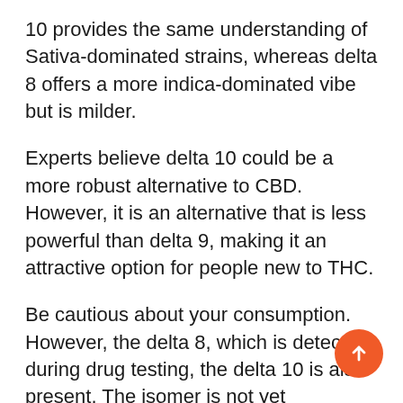10 provides the same understanding of Sativa-dominated strains, whereas delta 8 offers a more indica-dominated vibe but is milder.
Experts believe delta 10 could be a more robust alternative to CBD. However, it is an alternative that is less powerful than delta 9, making it an attractive option for people new to THC.
Be cautious about your consumption. However, the delta 8, which is detected during drug testing, the delta 10 is also present. The isomer is not yet developed and is not distinguishable to delta 9.
The trick to getting the most of the effects of these products is to select the ideal timing location. Days off at home is a fantastic chance to